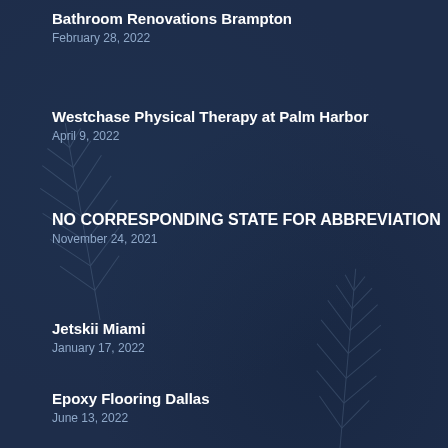Bathroom Renovations Brampton
February 28, 2022
Westchase Physical Therapy at Palm Harbor
April 9, 2022
NO CORRESPONDING STATE FOR ABBREVIATION
November 24, 2021
Jetskii Miami
January 17, 2022
Epoxy Flooring Dallas
June 13, 2022